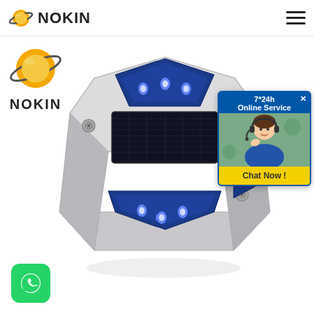NOKIN
[Figure (logo): NOKIN brand logo with Saturn-like planet icon and NOKIN text, shown in left sidebar]
[Figure (photo): Solar road stud/cat's eye product with aluminum body, blue LED lights, and solar panel on top surface, photographed on white background]
[Figure (photo): 7*24h Online Service chat widget with female customer service representative wearing headset, with Chat Now! yellow button]
[Figure (logo): WhatsApp icon button in green rounded square at bottom left]